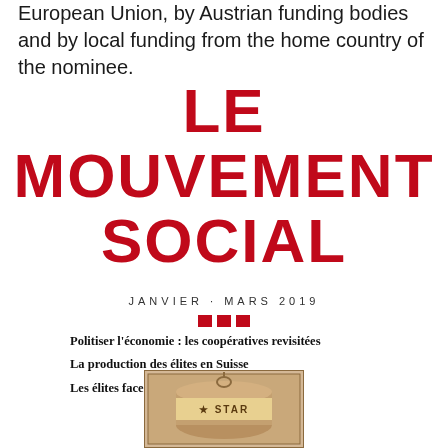European Union, by Austrian funding bodies and by local funding from the home country of the nominee.
LE MOUVEMENT SOCIAL
JANVIER · MARS 2019
Politiser l'économie : les coopératives revisitées
La production des élites en Suisse
Les élites face à la transformation urbaine
[Figure (photo): Book or can cover image with 'STAR' text visible, sepia/vintage style]